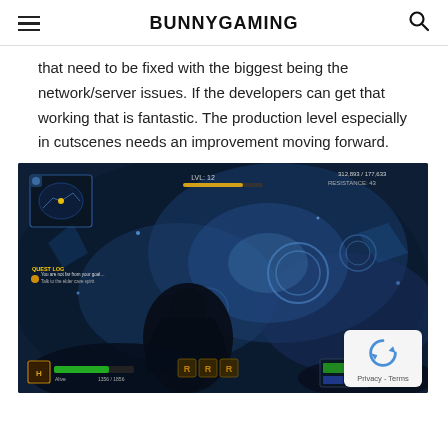BUNNYGAMING
that need to be fixed with the biggest being the network/server issues. If the developers can get that working that is fantastic. The production level especially in cutscenes needs an improvement moving forward.
[Figure (screenshot): In-game screenshot of a dark fantasy action game showing a character in a blue-tinted underground or cave environment with glowing runes and HUD elements including a minimap, health bar, level indicators, and action bar at the bottom.]